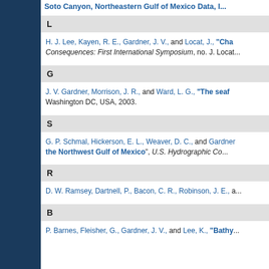Soto Canyon, Northeastern Gulf of Mexico Data, I...
L
H. J. Lee, Kayen, R. E., Gardner, J. V., and Locat, J., "Cha... Consequences: First International Symposium, no. J. Locat...
G
J. V. Gardner, Morrison, J. R., and Ward, L. G., "The seaf... Washington DC, USA, 2003.
S
G. P. Schmal, Hickerson, E. L., Weaver, D. C., and Gardner... "the Northwest Gulf of Mexico", U.S. Hydrographic Co...
R
D. W. Ramsey, Dartnell, P., Bacon, C. R., Robinson, J. E., a...
B
P. Barnes, Fleisher, G., Gardner, J. V., and Lee, K., "Bathy...